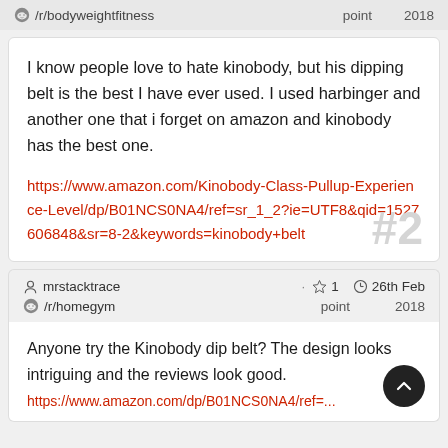/r/bodyweightfitness   point   2018
I know people love to hate kinobody, but his dipping belt is the best I have ever used. I used harbinger and another one that i forget on amazon and kinobody has the best one.
https://www.amazon.com/Kinobody-Class-Pullup-Experience-Level/dp/B01NCS0NA4/ref=sr_1_2?ie=UTF8&amp;qid=1527606848&amp;sr=8-2&amp;keywords=kinobody+belt
mrstacktrace · ☆ 1 point  ⊙ 26th Feb 2018  /r/homegym
Anyone try the Kinobody dip belt? The design looks intriguing and the reviews look good.
https://www.amazon.com/dp/B01NCS0NA4/ref=...